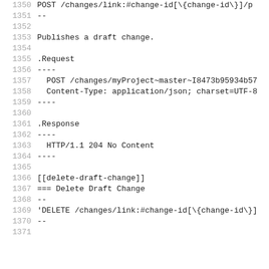1350  POST /changes/link:#change-id[\{change-id\}]/p
1351  --
1352
1353  Publishes a draft change.
1354
1355  .Request
1356  ----
1357    POST /changes/myProject~master~I8473b95934b57
1358    Content-Type: application/json; charset=UTF-8
1359  ----
1360
1361  .Response
1362  ----
1363    HTTP/1.1 204 No Content
1364  ----
1365
1366  [[delete-draft-change]]
1367  === Delete Draft Change
1368  --
1369  'DELETE /changes/link:#change-id[\{change-id\}]
1370  --
1371